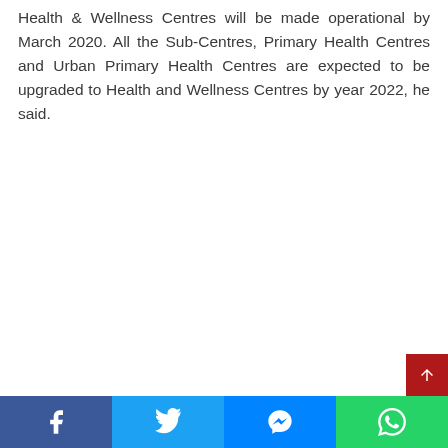Health & Wellness Centres will be made operational by March 2020. All the Sub-Centres, Primary Health Centres and Urban Primary Health Centres are expected to be upgraded to Health and Wellness Centres by year 2022, he said.